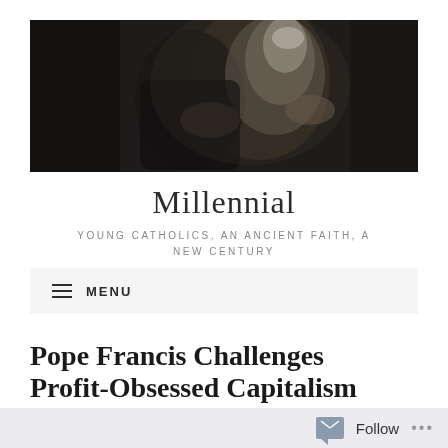[Figure (photo): Dark photograph showing a figure in white papal robes (Pope Francis) blessing or embracing someone, dimly lit scene]
Millennial
YOUNG CATHOLICS, AN ANCIENT FAITH, A NEW CENTURY
MENU
Pope Francis Challenges Profit-Obsessed Capitalism